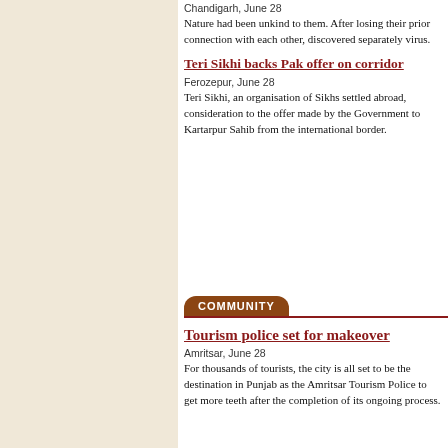Chandigarh, June 28
Nature had been unkind to them. After losing their prior connection with each other, discovered separately virus.
Teri Sikhi backs Pak offer on corridor
Ferozepur, June 28
Teri Sikhi, an organisation of Sikhs settled abroad, consideration to the offer made by the Government to Kartarpur Sahib from the international border.
COMMUNITY
Tourism police set for makeover
Amritsar, June 28
For thousands of tourists, the city is all set to be the destination in Punjab as the Amritsar Tourism Police to get more teeth after the completion of its ongoing process.